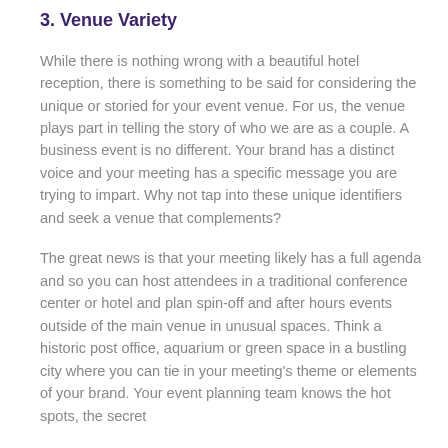3. Venue Variety
While there is nothing wrong with a beautiful hotel reception, there is something to be said for considering the unique or storied for your event venue. For us, the venue plays part in telling the story of who we are as a couple. A business event is no different. Your brand has a distinct voice and your meeting has a specific message you are trying to impart. Why not tap into these unique identifiers and seek a venue that complements?
The great news is that your meeting likely has a full agenda and so you can host attendees in a traditional conference center or hotel and plan spin-off and after hours events outside of the main venue in unusual spaces. Think a historic post office, aquarium or green space in a bustling city where you can tie in your meeting's theme or elements of your brand. Your event planning team knows the hot spots, the secret